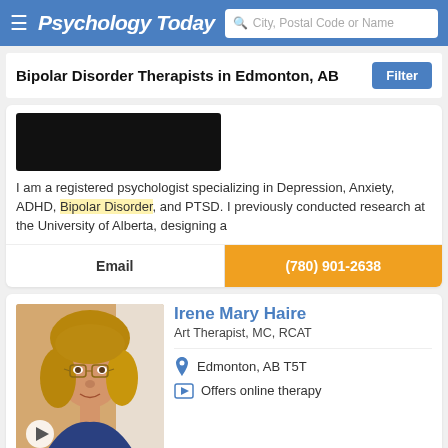Psychology Today — City, Postal Code or Name search
Bipolar Disorder Therapists in Edmonton, AB
I am a registered psychologist specializing in Depression, Anxiety, ADHD, Bipolar Disorder, and PTSD. I previously conducted research at the University of Alberta, designing a
Email | (780) 901-2638
Irene Mary Haire
Art Therapist, MC, RCAT
Edmonton, AB T5T
Offers online therapy
I am a Registered Provisional Psychologist and a Registered Art